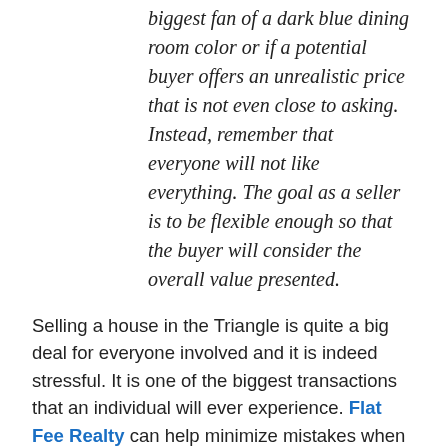biggest fan of a dark blue dining room color or if a potential buyer offers an unrealistic price that is not even close to asking. Instead, remember that everyone will not like everything. The goal as a seller is to be flexible enough so that the buyer will consider the overall value presented.
Selling a house in the Triangle is quite a big deal for everyone involved and it is indeed stressful. It is one of the biggest transactions that an individual will ever experience. Flat Fee Realty can help minimize mistakes when selling a local home. If this is the year to sell your home, contact the Flat Fee Realty team today! We make the difference!
**
This post on selling and buying a home in the